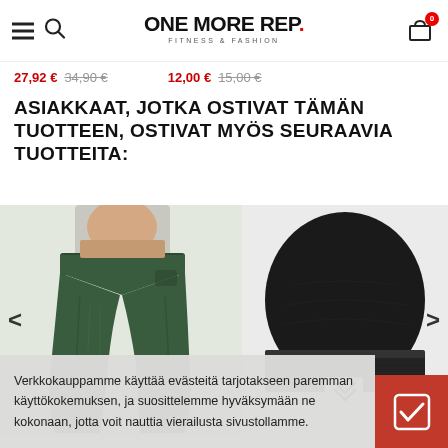ONE MORE REP. FITNESS & FASHION
27,92 € 34,90 € | 12,00 € 15,00 €
ASIAKKAAT, JOTKA OSTIVAT TÄMÄN TUOTTEEN, OSTIVAT MYÖS SEURAAVIA TUOTTEITA:
[Figure (photo): Person wearing dark green fitness leggings, rear view]
[Figure (photo): Black knit beanie hat with small logo patch]
Verkkokauppamme käyttää evästeitä tarjotakseen paremman käyttökokemuksen, ja suosittelemme hyväksymään ne kokonaan, jotta voit nauttia vierailusta sivustollamme.